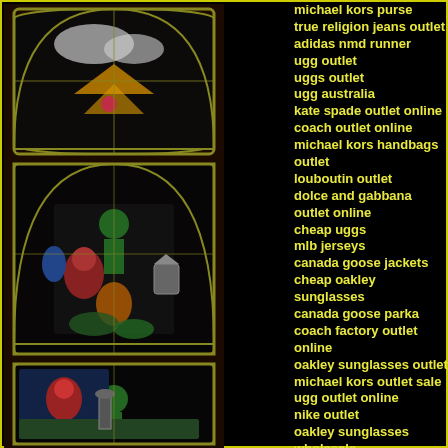[Figure (illustration): Stained glass window images arranged vertically on the left side, depicting colorful fantasy/game scenes with arched gothic window frames]
michael kors purse
true religion jeans outlet
adidas nmd runner
ugg outlet
uggs outlet
ugg australia
kate spade outlet online
coach outlet online
michael kors handbags outlet
louboutin outlet
dolce and gabbana outlet online
cheap uggs
mlb jerseys
canada goose jackets
cheap oakley sunglasses
canada goose parka
coach factory outlet online
oakley sunglasses outlet
michael kors outlet sale
ugg outlet online
nike outlet
oakley sunglasses wholesale
canada goose jackets
cheap ray bans
pandora charms sale clearance
hugo boss suits